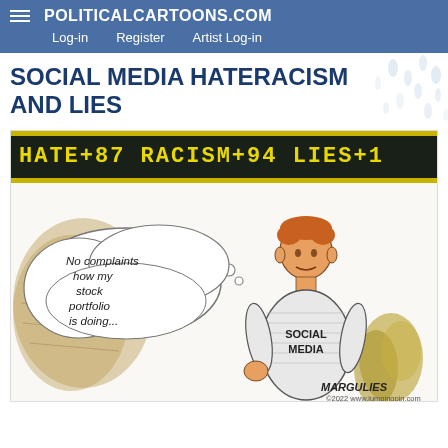POLITICALCARTOONS.COM  Log-in  Register  Artist Log-in
SOCIAL MEDIA HATERACISM AND LIES
[Figure (illustration): Political cartoon by Margulies showing a stock ticker-style scrolling banner reading 'HATE +87 RACISM +94 LIES +1(' and a man wearing a 'SOCIAL MEDIA' sweater looking up at it with a thought bubble saying 'No complaints how my stock portfolio is doing...' Signed MARGULIES, copyright 2022.]